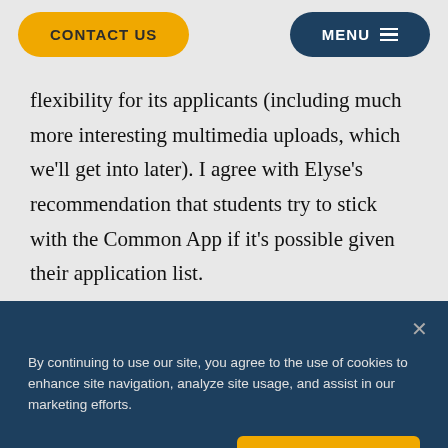CONTACT US | MENU
flexibility for its applicants (including much more interesting multimedia uploads, which we'll get into later). I agree with Elyse's recommendation that students try to stick with the Common App if it's possible given their application list.
By continuing to use our site, you agree to the use of cookies to enhance site navigation, analyze site usage, and assist in our marketing efforts.
Cookies Settings | Accept All Cookies
Abigail: The first essay option for each platform is very